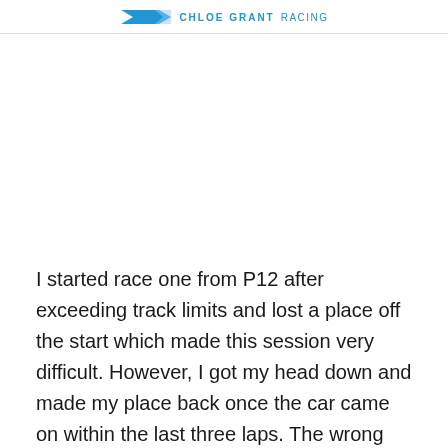CHLOE GRANT RACING
I started race one from P12 after exceeding track limits and lost a place off the start which made this session very difficult. However, I got my head down and made my place back once the car came on within the last three laps. The wrong call was made on a setup change which ultimately meant we couldn't capitalise on Saturday's conditions and we only finished